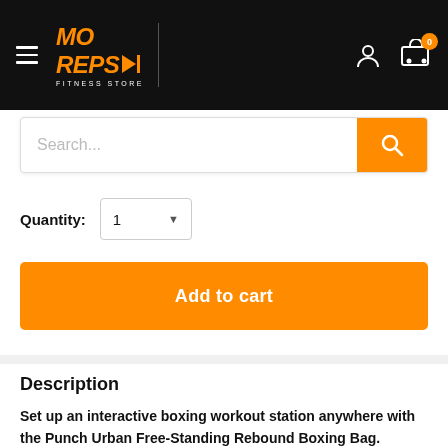[Figure (screenshot): MO REPS Fitness Store logo with hamburger menu icon on black header bar, plus user and cart icons on the right]
Search...
Quantity: 1
Add to cart
Description
Set up an interactive boxing workout station anywhere with the Punch Urban Free-Standing Rebound Boxing Bag.